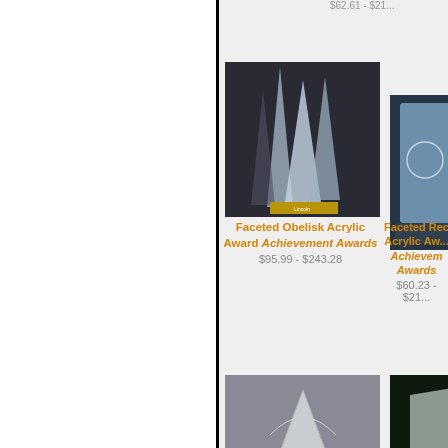[Figure (photo): Left white panel with vertical black divider line]
$62.61 - $217...
[Figure (photo): Faceted Obelisk Acrylic Award product photo showing multiple crystal obelisk trophies on dark background]
Faceted Obelisk Acrylic Award Achievement Awards
$95.99 - $243.28
[Figure (photo): Faceted Rectangle Acrylic Award product photo showing blue-tinted crystal awards]
Faceted Rectangle Acrylic Award Achievement Awards
$60.23 - $21...
[Figure (photo): Fan Metro Glass Award product photo showing a fan-shaped glass award on black base]
Fan Metro Glass Award Achievement Awards
$69.06 - $100.08
[Figure (photo): Fandango Award product photo showing green crystal award]
Fandango Award Achievement Awards
$153.98 - $20...
[Figure (photo): Bottom left award product photo partially visible]
[Figure (photo): Bottom right green crystal award product photo partially visible]